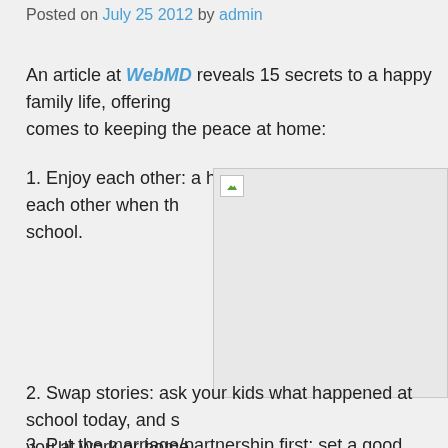Posted on July 25 2012 by admin
An article at WebMD reveals 15 secrets to a happy family life, offering comes to keeping the peace at home:
1. Enjoy each other: a happy family is glad to see each other when th school.
[Figure (photo): Broken/missing image placeholder with small green mountain icon]
2. Swap stories: ask your kids what happened at school today, and s you at work or home.
3. Put the marriage/partnership first: set a good example of a loving partner and your relationship.